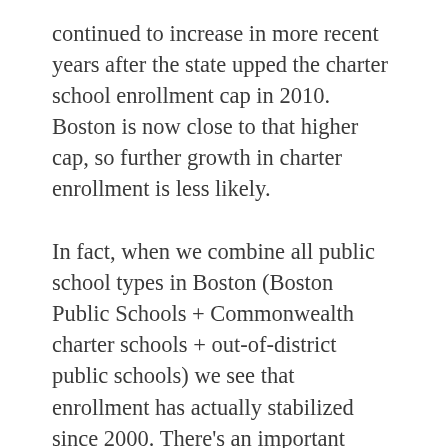continued to increase in more recent years after the state upped the charter school enrollment cap in 2010. Boston is now close to that higher cap, so further growth in charter enrollment is less likely.
In fact, when we combine all public school types in Boston (Boston Public Schools + Commonwealth charter schools + out-of-district public schools) we see that enrollment has actually stabilized since 2000. There's an important silver lining here: While BPS has lost students to charters, all public school types combined have actually seen enrollment increases. Their combined market share of all